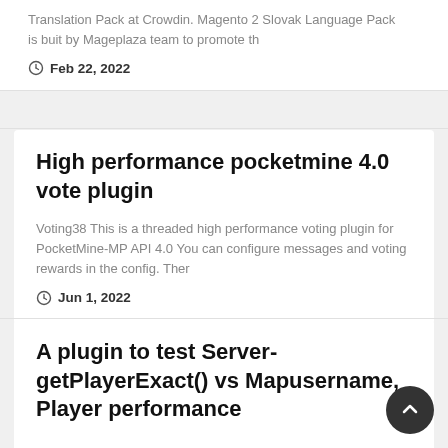Translation Pack at Crowdin. Magento 2 Slovak Language Pack is buit by Mageplaza team to promote th
Feb 22, 2022
High performance pocketmine 4.0 vote plugin
Voting38 This is a threaded high performance voting plugin for PocketMine-MP API 4.0 You can configure messages and voting rewards in the config. Ther
Jun 1, 2022
A plugin to test Server-getPlayerExact() vs Mapusername, Player performance